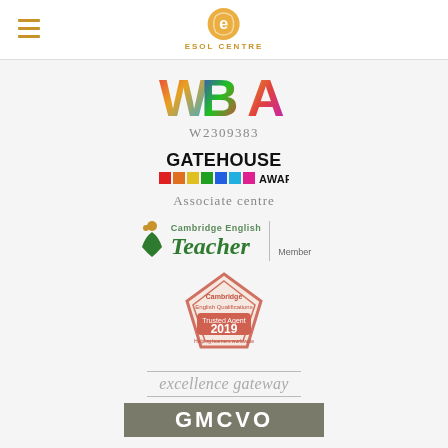ESOL CENTRE (logo/header)
[Figure (logo): WEA colorful logo with letters W, B, A in multi-color segments]
W2309383
[Figure (logo): GATEHOUSE AWARDS logo with colored squares]
Associate centre
[Figure (logo): Cambridge English Teacher Member logo with figure and vertical bar]
[Figure (logo): Cambridge English Qualifications Trusted Agent 2019 pentagon badge]
[Figure (logo): excellence gateway logo with italic text and horizontal lines]
[Figure (logo): GMCVO logo in grey/olive rectangle with white text]